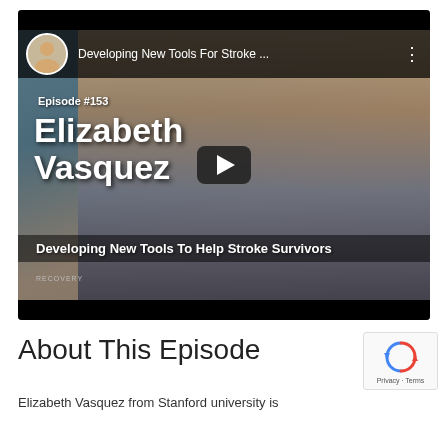[Figure (screenshot): YouTube video thumbnail/player for Episode #153 featuring Elizabeth Vasquez, titled 'Developing New Tools For Stroke...' with a woman wearing headphones and glasses visible. A play button is shown in the center. Subtitle reads 'Developing New Tools To Help Stroke Survivors'. A small avatar of a man is in the top-left corner of the video header.]
About This Episode
Elizabeth Vasquez from Stanford university is